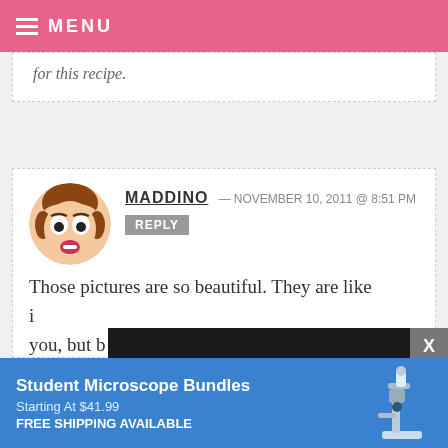MENU
for this recipe.
MADDINO — NOVEMBER 10, 2011 @ 8:51 PM
REPLY
Those pictures are so beautiful. They are like i... you, but b... sharing t... cookies. A... My husba... chocolate so I'd enjoy/be cursed with
[Figure (screenshot): Embedded video player overlay with play button, progress bar, timestamp 13:52, CC, grid, settings, and fullscreen controls on dark background]
[Figure (other): Advertisement banner for Student Microscope Bundles starting at $41.99 with free shipping, blue background with microscope image]